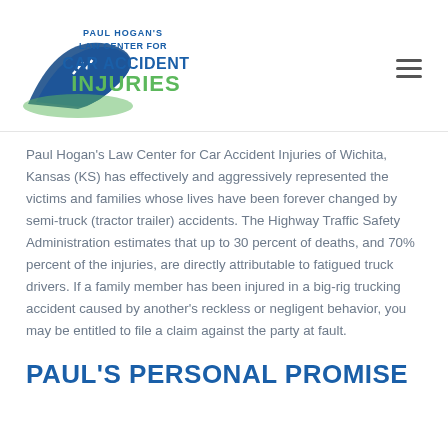[Figure (logo): Paul Hogan's Law Center for Car Accident Injuries logo with road/car graphic in blue and green]
Paul Hogan's Law Center for Car Accident Injuries of Wichita, Kansas (KS) has effectively and aggressively represented the victims and families whose lives have been forever changed by semi-truck (tractor trailer) accidents. The Highway Traffic Safety Administration estimates that up to 30 percent of deaths, and 70% percent of the injuries, are directly attributable to fatigued truck drivers. If a family member has been injured in a big-rig trucking accident caused by another's reckless or negligent behavior, you may be entitled to file a claim against the party at fault.
PAUL'S PERSONAL PROMISE